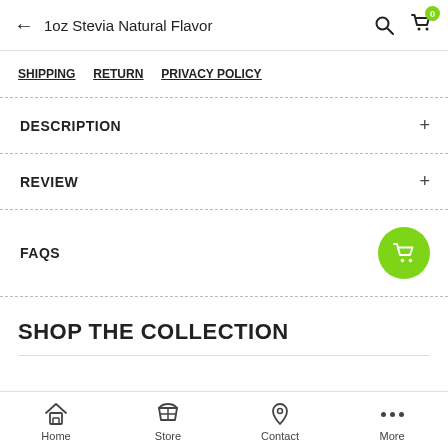1oz Stevia Natural Flavor
SHIPPING   RETURN   PRIVACY POLICY
DESCRIPTION
REVIEW
FAQS
SHOP THE COLLECTION
Home   Store   Contact   More